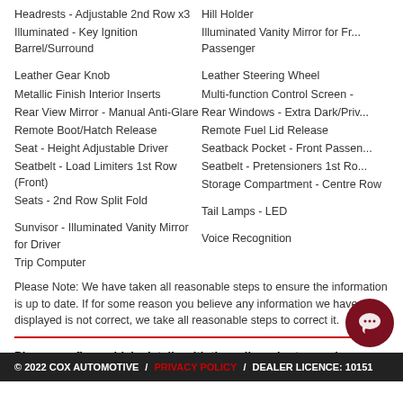Headrests - Adjustable 2nd Row x3
Illuminated - Key Ignition Barrel/Surround
Leather Gear Knob
Metallic Finish Interior Inserts
Rear View Mirror - Manual Anti-Glare
Remote Boot/Hatch Release
Seat - Height Adjustable Driver
Seatbelt - Load Limiters 1st Row (Front)
Seats - 2nd Row Split Fold
Sunvisor - Illuminated Vanity Mirror for Driver
Trip Computer
Hill Holder
Illuminated Vanity Mirror for Front Passenger
Leather Steering Wheel
Multi-function Control Screen -
Rear Windows - Extra Dark/Privacy
Remote Fuel Lid Release
Seatback Pocket - Front Passenger
Seatbelt - Pretensioners 1st Row
Storage Compartment - Centre Row
Tail Lamps - LED
Voice Recognition
Please Note: We have taken all reasonable steps to ensure the information is up to date. If for some reason you believe any information we have displayed is not correct, we take all reasonable steps to correct it.
Please confirm vehicle details with the seller prior to purchase.
Data By RedBook ©. All Rights Reserved.
© 2022 COX AUTOMOTIVE / PRIVACY POLICY / DEALER LICENCE: 10151